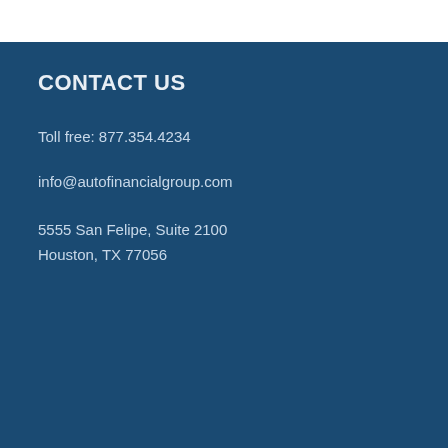CONTACT US
Toll free: 877.354.4234
info@autofinancialgroup.com
5555 San Felipe, Suite 2100
Houston, TX 77056